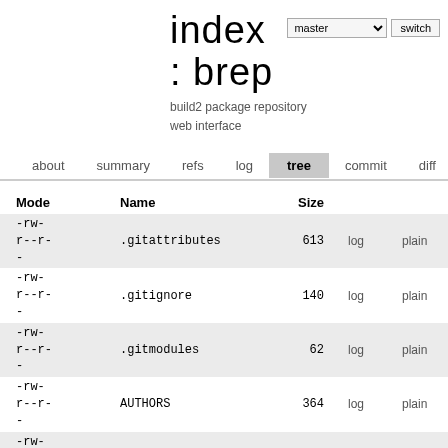index : brep
build2 package repository web interface
about  summary  refs  log  tree  commit  diff
| Mode | Name | Size |  |  |
| --- | --- | --- | --- | --- |
| -rw-
r--r-
- | .gitattributes | 613 | log | plain |
| -rw-
r--r-
- | .gitignore | 140 | log | plain |
| -rw-
r--r-
- | .gitmodules | 62 | log | plain |
| -rw-
r--r-
- | AUTHORS | 364 | log | plain |
| -rw-
r--r-
- | CONTRIBUTING.md | 901 | log | plain |
| -rw-
r--r-
- | INSTALL | 17454 | log | plain |